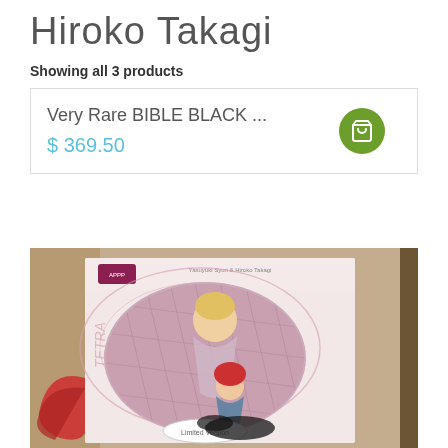Hiroko Takagi
Showing all 3 products
Very Rare BIBLE BLACK ...
$ 369.50
[Figure (photo): Photo of a boxed anime figure set labeled 'Bible Black' by Hiroko Takagi, showing two female anime figurines inside a box with an oval window display. One figurine has red/pink hair and the other is blonde. The box has a pink/white design with a brand logo (APOX or similar) in the upper left. A 'Limited Version' tag is visible at the bottom.]